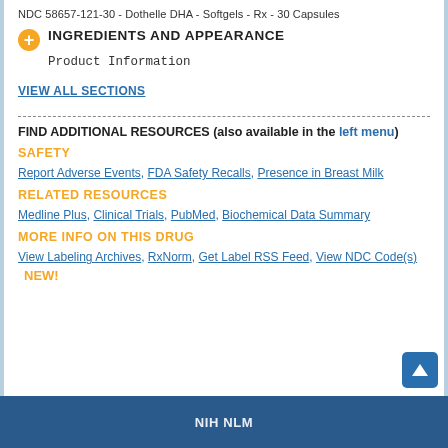NDC 58657-121-30 - Dothelle DHA - Softgels - Rx - 30 Capsules
INGREDIENTS AND APPEARANCE
Product Information
VIEW ALL SECTIONS
FIND ADDITIONAL RESOURCES (also available in the left menu)
SAFETY
Report Adverse Events, FDA Safety Recalls, Presence in Breast Milk
RELATED RESOURCES
Medline Plus, Clinical Trials, PubMed, Biochemical Data Summary
MORE INFO ON THIS DRUG
View Labeling Archives, RxNorm, Get Label RSS Feed, View NDC Code(s)  NEW!
NIH NLM